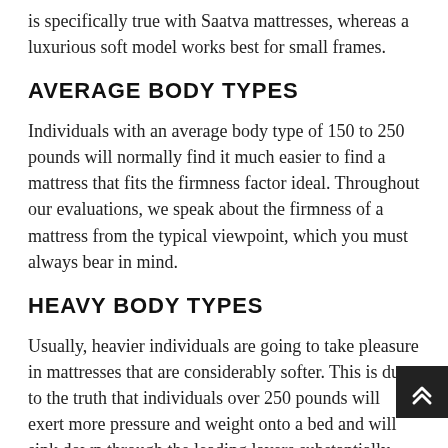is specifically true with Saatva mattresses, whereas a luxurious soft model works best for small frames.
AVERAGE BODY TYPES
Individuals with an average body type of 150 to 250 pounds will normally find it much easier to find a mattress that fits the firmness factor ideal. Throughout our evaluations, we speak about the firmness of a mattress from the typical viewpoint, which you must always bear in mind.
HEAVY BODY TYPES
Usually, heavier individuals are going to take pleasure in mattresses that are considerably softer. This is due to the truth that individuals over 250 pounds will exert more pressure and weight onto a bed and will sink down through the leading layers substantially more than an average individual. The